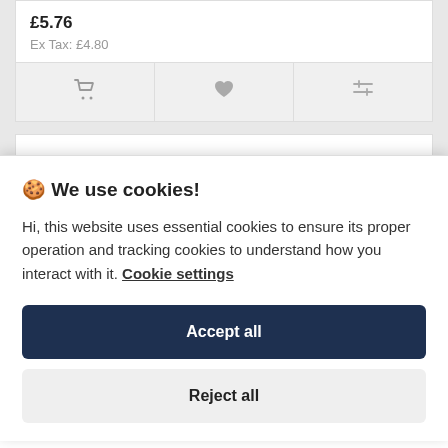£5.76
Ex Tax: £4.80
[Figure (screenshot): Action bar with cart, heart, and compare icons]
[Figure (screenshot): Partial product card below]
🍪 We use cookies!
Hi, this website uses essential cookies to ensure its proper operation and tracking cookies to understand how you interact with it. Cookie settings
Accept all
Reject all
£6.00